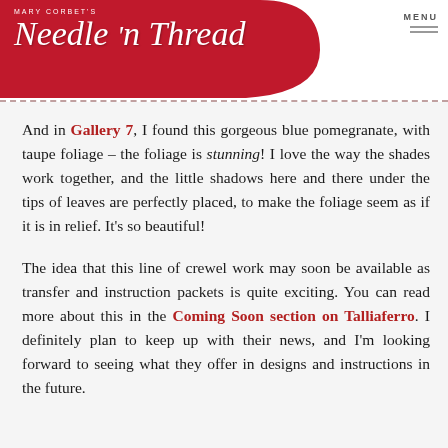MARY CORBET'S Needle 'n Thread
And in Gallery 7, I found this gorgeous blue pomegranate, with taupe foliage – the foliage is stunning! I love the way the shades work together, and the little shadows here and there under the tips of leaves are perfectly placed, to make the foliage seem as if it is in relief. It's so beautiful!
The idea that this line of crewel work may soon be available as transfer and instruction packets is quite exciting. You can read more about this in the Coming Soon section on Talliaferro. I definitely plan to keep up with their news, and I'm looking forward to seeing what they offer in designs and instructions in the future.